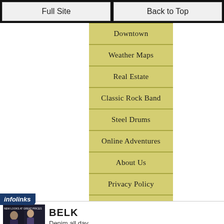Full Site | Back to Top
Downtown
Weather Maps
Real Estate
Classic Rock Band
Steel Drums
Online Adventures
About Us
Privacy Policy
Neighbourhoods
[Figure (screenshot): Advertisement banner for BELK department store showing fashion models, brand name BELK, tagline 'Denim all day.' and URL www.belk.com with navigation arrow button]
infolinks